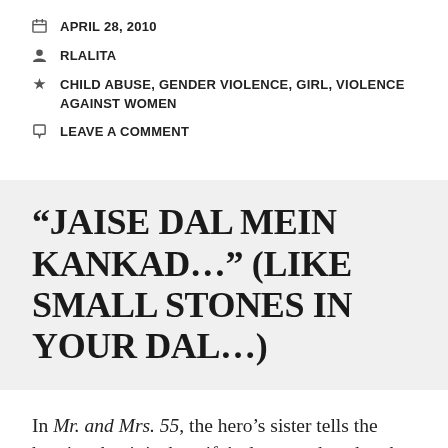APRIL 28, 2010
RLALITA
CHILD ABUSE, GENDER VIOLENCE, GIRL, VIOLENCE AGAINST WOMEN
LEAVE A COMMENT
“JAISE DAL MEIN KANKAD…” (LIKE SMALL STONES IN YOUR DAL…)
In Mr. and Mrs. 55, the hero’s sister tells the heroine that it is the wife’s duty to take what the husband dishes out, just as we deal with small stones that may remain in our dal. Anupam Srivastava reports on a study in Uttar Pradesh which suggests that people still think this way: ‘My husband beats me, he has the